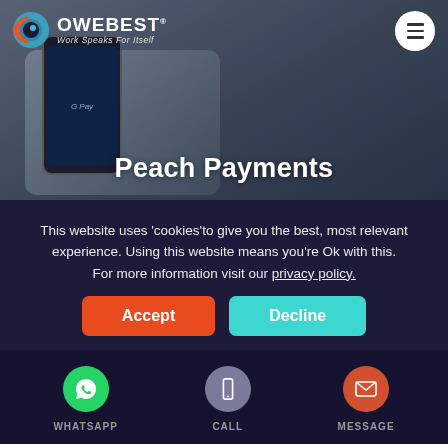[Figure (screenshot): Hero section with Owebest logo, hamburger menu, background showing a hand holding a phone with G Pay, and 'Peach Payments' title overlaid]
This website uses 'cookies'to give you the best, most relevant experience. Using this website means you're Ok with this. For more information visit our privacy policy.
Accept
Decline
WHATSAPP
CALL
MESSAGE